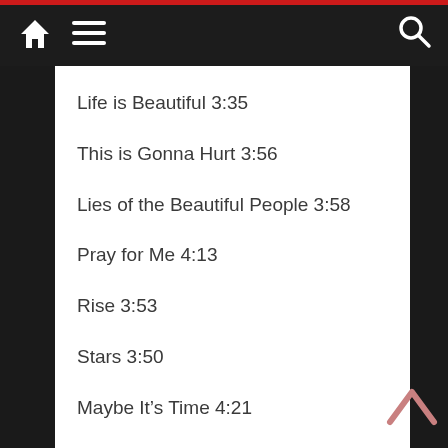Navigation bar with home, menu, and search icons
Life is Beautiful 3:35
This is Gonna Hurt 3:56
Lies of the Beautiful People 3:58
Pray for Me 4:13
Rise 3:53
Stars 3:50
Maybe It's Time 4:21
Skin 3:25
Belly of the Beast 3:47
Are You With Me Now 4:02